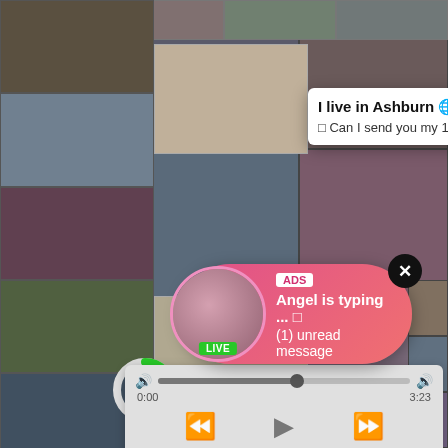[Figure (screenshot): Background webpage with video thumbnails grid]
I live in Ashburn 🌐
🔲 Can I send you my 18+ photos?☺️🔲
I live in Ashburn 🌐
🔲 Can I send you my 18+ photos?☺️🔲
Missed Call from Eliza
please call me back.. i miss you
0:00
3:23
Gay
👍 83
ADS
Angel is typing ... 🔲
(1) unread message
LIVE
hairy indi...
👍 95% / 👁 332 019 / 🕐 10:00
👍 90% / 👁 972 260 / 🕐 7:00